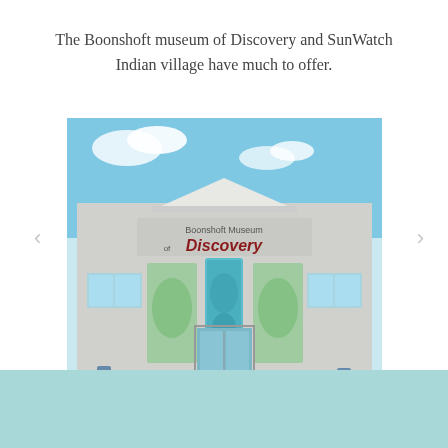The Boonshoft museum of Discovery and SunWatch Indian village have much to offer.
[Figure (photo): Exterior photo of the Boonshoft Museum of Discovery building, showing the front entrance with a large blue decorative banner, the museum name sign reading 'Boonshoft Museum of Discovery' with red lettering, and a brick plaza in front. Navigation arrows (left and right chevrons) flank the image, with pagination dots below indicating a carousel/slideshow interface.]